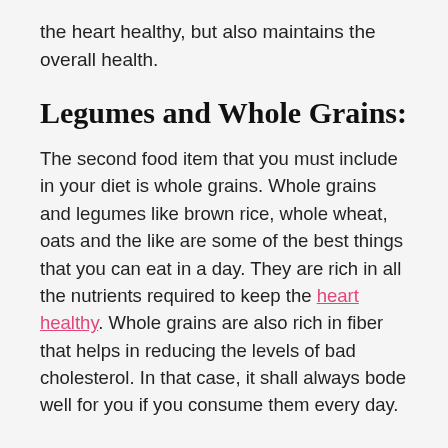the heart healthy, but also maintains the overall health.
Legumes and Whole Grains:
The second food item that you must include in your diet is whole grains. Whole grains and legumes like brown rice, whole wheat, oats and the like are some of the best things that you can eat in a day. They are rich in all the nutrients required to keep the heart healthy. Whole grains are also rich in fiber that helps in reducing the levels of bad cholesterol. In that case, it shall always bode well for you if you consume them every day.